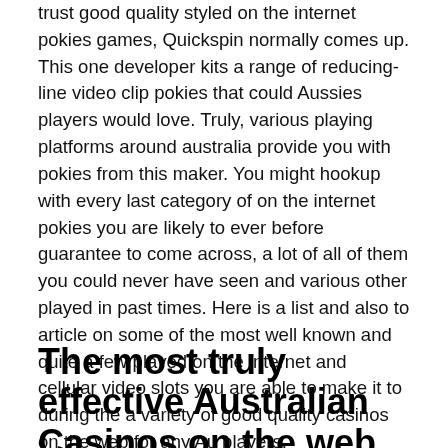trust good quality styled on the internet pokies games, Quickspin normally comes up. This one developer kits a range of reducing-line video clip pokies that could Aussies players would love. Truly, various playing platforms around australia provide you with pokies from this maker. You might hookup with every last category of on the internet pokies you are likely to ever before guarantee to come across, a lot of all of them you could never have seen and various other played in past times. Here is a list and also to article on some of the most well known and quite a few played on the internet and cellular video slots you are able to make it to during the a variety of good quality casinos on the web for any Au players.
The most truly effective Australian Casinos on the web Admit And Build up...